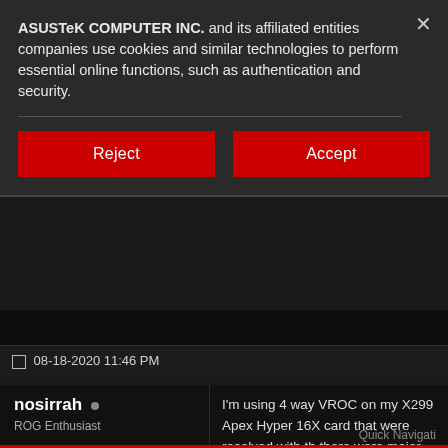ASUSTeK COMPUTER INC. and its affiliated entities companies use cookies and similar technologies to perform essential online functions, such as authentication and security.
Reject
Accept
08-18-2020 11:46 PM
nosirrah •
ROG Enthusiast
| Field | Value |
| --- | --- |
| Join Date: | Jul 2018 |
| Reputation: | 10 |
| Posts: | 30 |
I'm using 4 way VROC on my X299 Apex Hyper 16X card that were resolved with th there were major changes made to the ca to the power circuitry. Before upgrading to stability issues.

I don't know if that is related to this threa using a V1 Hyper 16X card.
Quick Navigati